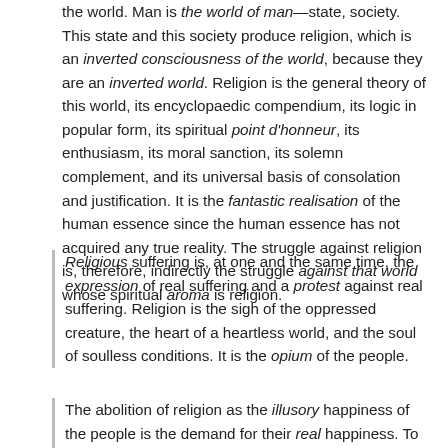the world. Man is the world of man—state, society. This state and this society produce religion, which is an inverted consciousness of the world, because they are an inverted world. Religion is the general theory of this world, its encyclopaedic compendium, its logic in popular form, its spiritual point d'honneur, its enthusiasm, its moral sanction, its solemn complement, and its universal basis of consolation and justification. It is the fantastic realisation of the human essence since the human essence has not acquired any true reality. The struggle against religion is, therefore, indirectly the struggle against that world whose spiritual aroma is religion.
Religious suffering is, at one and the same time, the expression of real suffering and a protest against real suffering. Religion is the sigh of the oppressed creature, the heart of a heartless world, and the soul of soulless conditions. It is the opium of the people.
The abolition of religion as the illusory happiness of the people is the demand for their real happiness. To call on them